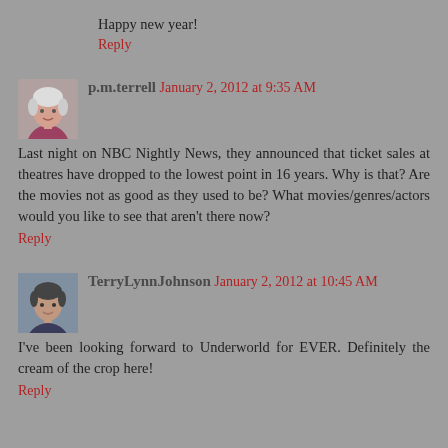Happy new year!
Reply
p.m.terrell  January 2, 2012 at 9:35 AM
Last night on NBC Nightly News, they announced that ticket sales at theatres have dropped to the lowest point in 16 years. Why is that? Are the movies not as good as they used to be? What movies/genres/actors would you like to see that aren't there now?
Reply
TerryLynnJohnson  January 2, 2012 at 10:45 AM
I've been looking forward to Underworld for EVER. Definitely the cream of the crop here!
Reply